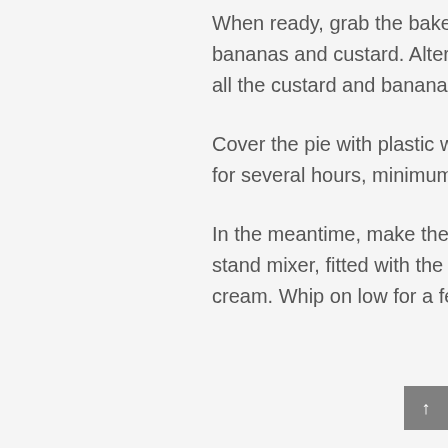When ready, grab the baked and cooled pie shell and layer the sliced bananas and custard. Alternate between the two, making layers, until all the custard and bananas are used; leaving the last layer custard.
Cover the pie with plastic wrap and place it in the fridge. Allow to chill for several hours, minimum 1 hour, but longer would be better.
In the meantime, make the whipped cream topping. In a bowl of a stand mixer, fitted with the whisk attachment, place the chilled heavy cream. Whip on low for a few seconds, and then raise to medium.